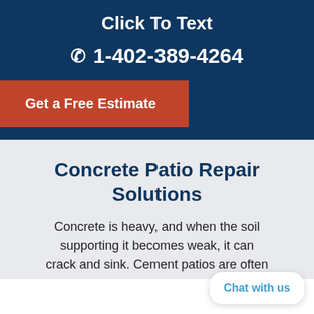Click To Text
1-402-389-4264
Get a Free Estimate
Concrete Patio Repair Solutions
Concrete is heavy, and when the soil supporting it becomes weak, it can crack and sink. Cement patios are often
Chat with us